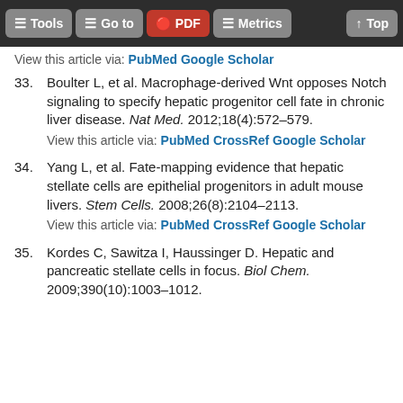Tools | Go to | PDF | Metrics | Top
View this article via: PubMed Google Scholar
33. Boulter L, et al. Macrophage-derived Wnt opposes Notch signaling to specify hepatic progenitor cell fate in chronic liver disease. Nat Med. 2012;18(4):572–579.
View this article via: PubMed CrossRef Google Scholar
34. Yang L, et al. Fate-mapping evidence that hepatic stellate cells are epithelial progenitors in adult mouse livers. Stem Cells. 2008;26(8):2104–2113.
View this article via: PubMed CrossRef Google Scholar
35. Kordes C, Sawitza I, Haussinger D. Hepatic and pancreatic stellate cells in focus. Biol Chem. 2009;390(10):1003–1012.